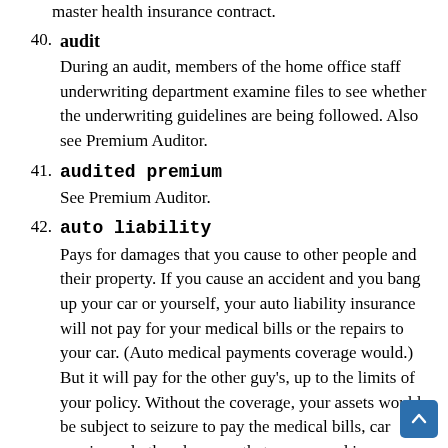master health insurance contract.
40. audit
During an audit, members of the home office staff underwriting department examine files to see whether the underwriting guidelines are being followed. Also see Premium Auditor.
41. audited premium
See Premium Auditor.
42. auto liability
Pays for damages that you cause to other people and their property. If you cause an accident and you bang up your car or yourself, your auto liability insurance will not pay for your medical bills or the repairs to your car. (Auto medical payments coverage would.) But it will pay for the other guy's, up to the limits of your policy. Without the coverage, your assets would be subject to seizure to pay the medical bills, car repairs and other damages that you caused in an accident. Once the insurance company pays out the limits of your policy, you're liable for the rest, which is why it's